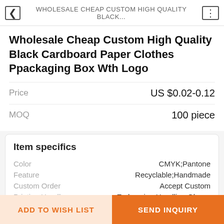WHOLESALE CHEAP CUSTOM HIGH QUALITY BLACK...
Wholesale Cheap Custom High Quality Black Cardboard Paper Clothes Ppackaging Box Wth Logo
Price  US $0.02-0.12
MOQ  100 piece
Item specifics
|  |  |
| --- | --- |
| Color | CMYK;Pantone |
| Feature | Recyclable;Handmade |
| Custom Order | Accept Custom |
| Printing Handle | Embossing Handling,Glossy Lamination,Matt Lamination |
VIEW MORE
ADD TO WISH LIST
SEND INQUIRY